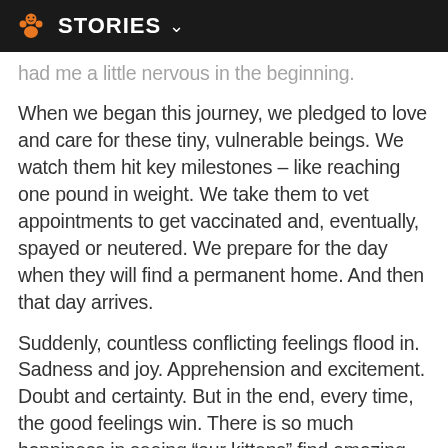STORIES
had me a little nervous in the beginning.
When we began this journey, we pledged to love and care for these tiny, vulnerable beings. We watch them hit key milestones – like reaching one pound in weight. We take them to vet appointments to get vaccinated and, eventually, spayed or neutered. We prepare for the day when they will find a permanent home. And then that day arrives.
Suddenly, countless conflicting feelings flood in. Sadness and joy. Apprehension and excitement. Doubt and certainty. But in the end, every time, the good feelings win. There is so much happiness in seeing “our kittens” find amazing forever families. When they move on, each a little success story, we